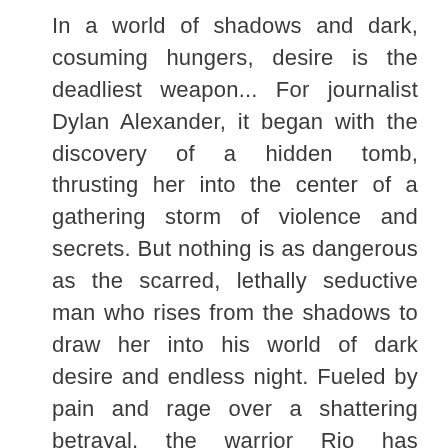In a world of shadows and dark, cosuming hungers, desire is the deadliest weapon... For journalist Dylan Alexander, it began with the discovery of a hidden tomb, thrusting her into the center of a gathering storm of violence and secrets. But nothing is as dangerous as the scarred, lethally seductive man who rises from the shadows to draw her into his world of dark desire and endless night. Fueled by pain and rage over a shattering betrayal, the warrior Rio has pledged his life to the war against the Rogues. He will let nothing stand in his way—least of all a mortal woman with the power to expose the entire vampire race. For an ancient evil has been awakened, and a stunning darkness is on the rise. Suddenly Dylan is powerless to resist Rio's touch, even as she